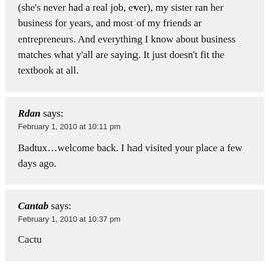(she's never had a real job, ever), my sister ran her business for years, and most of my friends ar entrepreneurs.  And everything I know about business matches what y’all are saying.  It just doesn’t fit the textbook at all.
Rdan says:
February 1, 2010 at 10:11 pm
Badtux…welcome back.  I had visited your place a few days ago.
Cantab says:
February 1, 2010 at 10:37 pm
Cactu